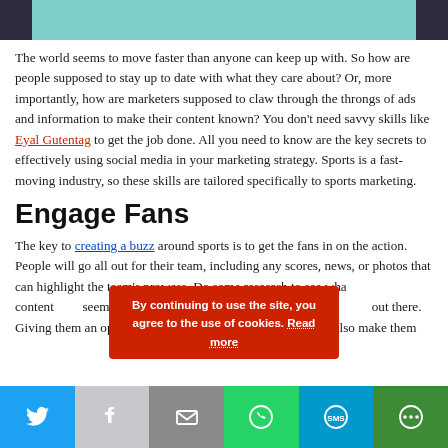[Figure (illustration): Top banner image showing a teal background with dark human figures on both sides]
The world seems to move faster than anyone can keep up with. So how are people supposed to stay up to date with what they care about? Or, more importantly, how are marketers supposed to claw through the throngs of ads and information to make their content known? You don't need savvy skills like Eyal Gutentag to get the job done. All you need to know are the key secrets to effectively using social media in your marketing strategy. Sports is a fast-moving industry, so these skills are tailored specifically to sports marketing.
Engage Fans
The key to creating a buzz around sports is to get the fans in on the action. People will go all out for their team, including any scores, news, or photos that can highlight the team's prowess. Do some research to see what types of content fans seem to prefer and start plugging those pieces of content out there. Giving them an opportunity to interact with the content will also make them
By continuing to use the site, you agree to the use of cookies. Read more
[Figure (infographic): Social media share bar with Twitter, Facebook, Email, WhatsApp, SMS, and More buttons]